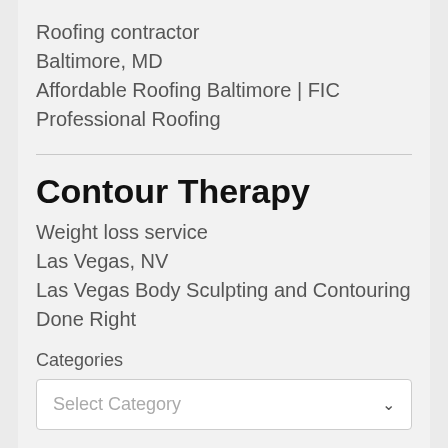Roofing contractor
Baltimore, MD
Affordable Roofing Baltimore | FIC Professional Roofing
Contour Therapy
Weight loss service
Las Vegas, NV
Las Vegas Body Sculpting and Contouring Done Right
Categories
Select Category